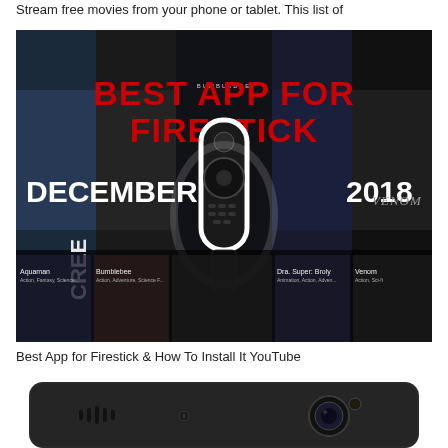Stream free movies from your phone or tablet. This list of
[Figure (screenshot): YouTube thumbnail image for 'Best App for Firestick December 2018' showing a Fire TV remote/stick device centered on a dark background with movie posters (Aquaman, Bumblebee, Game of Thrones, Dragon Ball Super: Broly, Venom, Creed, others) in the background. Large red text reads 'BEST APP FOR FIRESTICK' at the top and white text reads 'DECEMBER' and '2018' below.]
Best App for Firestick & How To Install It YouTube
[Figure (photo): Bottom portion of a dark smartphone showing speaker grille on the left and camera lens on the right, cropped at the top edge.]